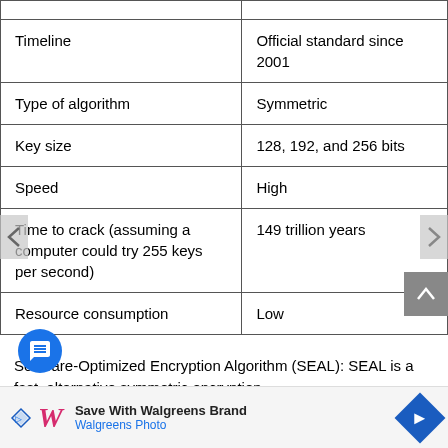|  |  |
| Timeline | Official standard since 2001 |
| Type of algorithm | Symmetric |
| Key size | 128, 192, and 256 bits |
| Speed | High |
| Time to crack (assuming a computer could try 255 keys per second) | 149 trillion years |
| Resource consumption | Low |
Software-Optimized Encryption Algorithm (SEAL): SEAL is a fast, alternative symmetric encryption